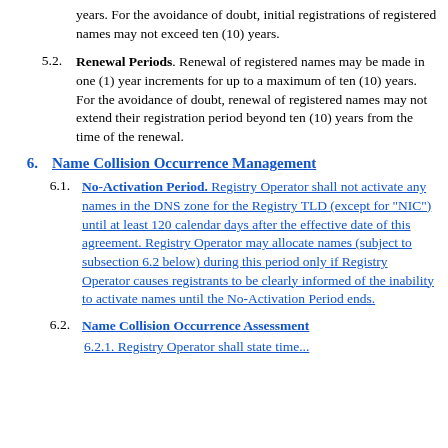years. For the avoidance of doubt, initial registrations of registered names may not exceed ten (10) years.
5.2. Renewal Periods. Renewal of registered names may be made in one (1) year increments for up to a maximum of ten (10) years. For the avoidance of doubt, renewal of registered names may not extend their registration period beyond ten (10) years from the time of the renewal.
6. Name Collision Occurrence Management
6.1. No-Activation Period. Registry Operator shall not activate any names in the DNS zone for the Registry TLD (except for "NIC") until at least 120 calendar days after the effective date of this agreement. Registry Operator may allocate names (subject to subsection 6.2 below) during this period only if Registry Operator causes registrants to be clearly informed of the inability to activate names until the No-Activation Period ends.
6.2. Name Collision Occurrence Assessment
6.2.1. Registry Operator shall state time...